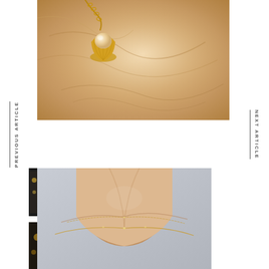[Figure (photo): Close-up photo of a gold pearl pendant on a chain, resting on a crumpled beige/cream tissue or fabric background]
PREVIOUS ARTICLE
NEXT ARTICLE
[Figure (photo): Photo of a person's neck and collarbone area wearing two delicate gold chain necklaces with small diamond accents, against a light grey background]
[Figure (photo): Small thumbnail image on far left edge, partially visible, appears to show jewelry on dark background]
[Figure (photo): Small thumbnail image on far left edge bottom, partially visible, dark background]